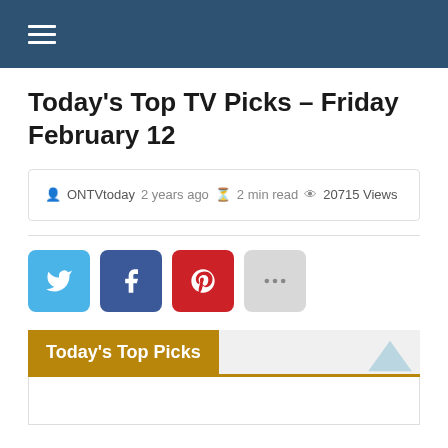≡ (hamburger menu icon)
Today's Top TV Picks – Friday February 12
ONTVtoday  2 years ago  ⌛ 2 min read  👁 20715 Views
[Figure (screenshot): Social share buttons: Twitter (blue), Facebook (dark blue), Pinterest (red), More (gray with ellipsis)]
Today's Top Picks